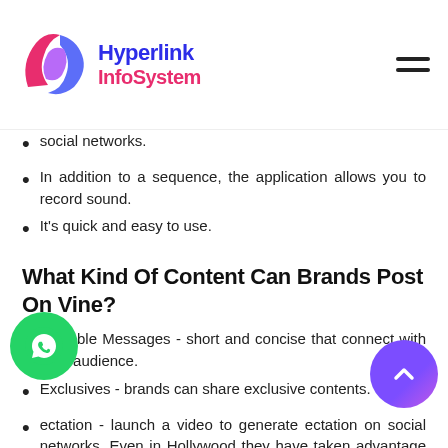Hyperlink InfoSystem
social networks.
In addition to a sequence, the application allows you to record sound.
It's quick and easy to use.
What Kind Of Content Can Brands Post On Vine?
Valuable Messages - short and concise that connect with your audience.
Exclusives - brands can share exclusive contents.
ectation - launch a video to generate ectation on social networks. Even in Hollywood they have taken advantage of Vine to create a new concept: Tweaser (Twitter + Teaser), 6-